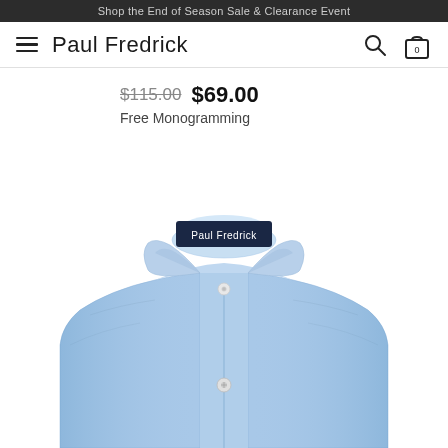Shop the End of Season Sale & Clearance Event
Paul Fredrick
$115.00  $69.00
Free Monogramming
[Figure (photo): Light blue dress shirt folded and displayed, showing the collar and front placket with buttons, with a dark navy Paul Fredrick brand label visible at the collar.]